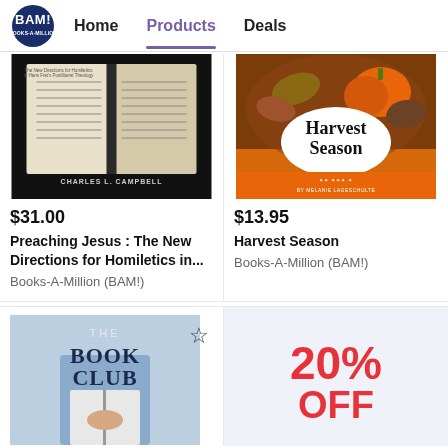BAM! Home | Products | Deals
[Figure (photo): Book cover: Preaching Jesus - The New Directions for Homiletics in Hans Frei's Postliberal Theology by Charles L. Campbell]
$31.00
Preaching Jesus : The New Directions for Homiletics in...
Books-A-Million (BAM!)
[Figure (photo): Book cover: Harvest Season by Melanie Lageschulte - orange pumpkins and autumn leaves]
$13.95
Harvest Season
Books-A-Million (BAM!)
[Figure (photo): Book cover: The Book Club - person reading a book]
20% OFF